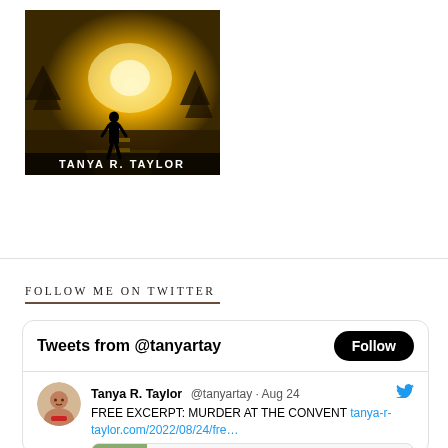[Figure (illustration): Book cover by Tanya R. Taylor showing a dark silhouette of a person standing on a road with bright golden light in the background, with the author name 'TANYA R. TAYLOR' at the bottom]
FOLLOW ME ON TWITTER
[Figure (screenshot): Twitter widget showing tweets from @tanyartay with a Follow button, and a tweet by Tanya R. Taylor dated Aug 24 saying 'FREE EXCERPT: MURDER AT THE CONVENT' with a link to tanya-r-taylor.com/2022/08/24/fre… and a preview image with tanya-r-taylor.com]